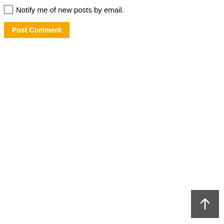Notify me of new posts by email.
Post Comment
[Figure (other): Scroll-to-top button: dark gray square with a white upward arrow icon in the bottom-right corner of the page.]